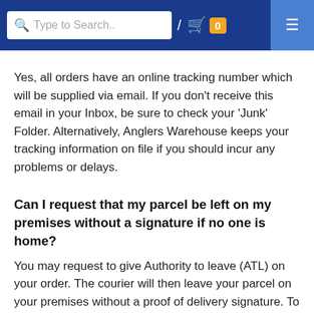Type to Search.. / 0 ≡
Yes, all orders have an online tracking number which will be supplied via email. If you don't receive this email in your Inbox, be sure to check your 'Junk' Folder. Alternatively, Anglers Warehouse keeps your tracking information on file if you should incur any problems or delays.
Can I request that my parcel be left on my premises without a signature if no one is home?
You may request to give Authority to leave (ATL) on your order. The courier will then leave your parcel on your premises without a proof of delivery signature. To request this please tick the ATL box during checkout. **If you request authority to leave on our parcel Anglers Warehouse does not take responsibility for any parcel/s that goes missing.